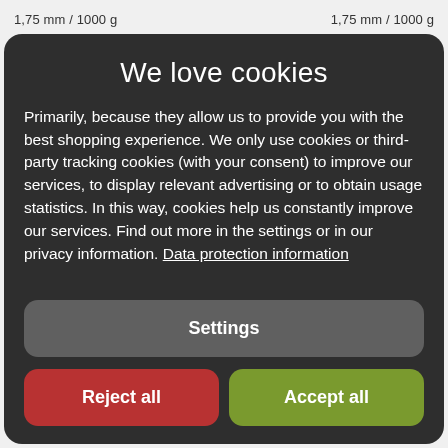1,75 mm / 1000 g   1,75 mm / 1000 g
We love cookies
Primarily, because they allow us to provide you with the best shopping experience. We only use cookies or third-party tracking cookies (with your consent) to improve our services, to display relevant advertising or to obtain usage statistics. In this way, cookies help us constantly improve our services. Find out more in the settings or in our privacy information. Data protection information
Settings
Reject all
Accept all